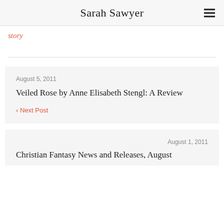Sarah Sawyer
story
August 5, 2011
Veiled Rose by Anne Elisabeth Stengl: A Review
‹ Next Post
August 1, 2011
Christian Fantasy News and Releases, August